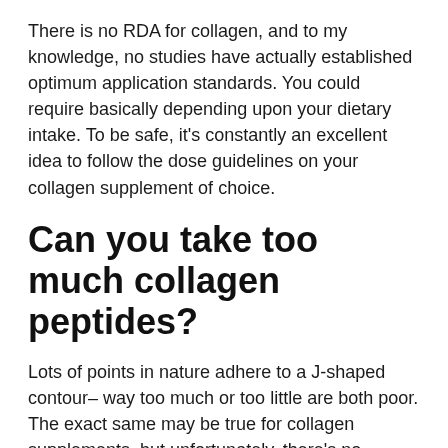There is no RDA for collagen, and to my knowledge, no studies have actually established optimum application standards. You could require basically depending upon your dietary intake. To be safe, it's constantly an excellent idea to follow the dose guidelines on your collagen supplement of choice.
Can you take too much collagen peptides?
Lots of points in nature adhere to a J-shaped contour– way too much or too little are both poor. The exact same may be true for collagen supplements, but unfortunately, there's no indicator of what would certainly